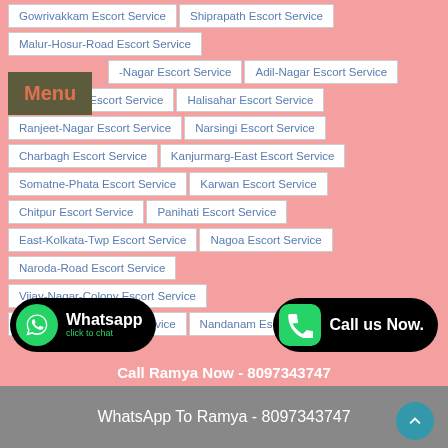Gowrivakkam Escort Service
Shiprapath Escort Service
Malur-Hosur-Road Escort Service
-Nagar Escort Service
Adil-Nagar Escort Service
Kavaraipettai Escort Service
Halisahar Escort Service
Ranjeet-Nagar Escort Service
Narsingi Escort Service
Charbagh Escort Service
Kanjurmarg-East Escort Service
Somatne-Phata Escort Service
Karwan Escort Service
Chitpur Escort Service
Panihati Escort Service
East-Kolkata-Twp Escort Service
Nagoa Escort Service
Naroda-Road Escort Service
Vijay-Nagar-Colony Escort Service
Mahabalipuram Escort Service
Nandanam Escort Service
Whatsapp click to chat
Call us Now.
Call Ramya Now - 8097343747
WhatsApp To Ramya - 8097343747